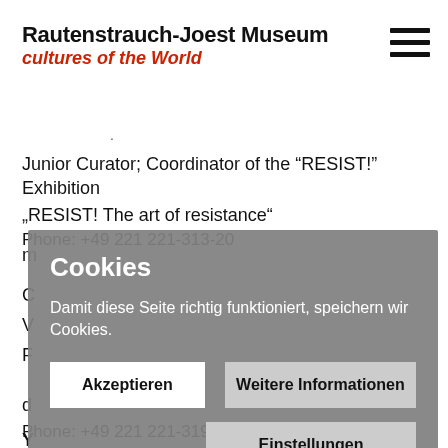Rautenstrauch-Joest Museum
cultures of the World
Junior Curator; Coordinator of the “RESIST!” Exhibition
„RESIST! The art of resistance“
Phone: +49 221 221-313-20
Cookies
Damit diese Seite richtig funktioniert, speichern wir Cookies.
Akzeptieren
Weitere Informationen
Einstellungen
Phone: +49 221 221-319-85